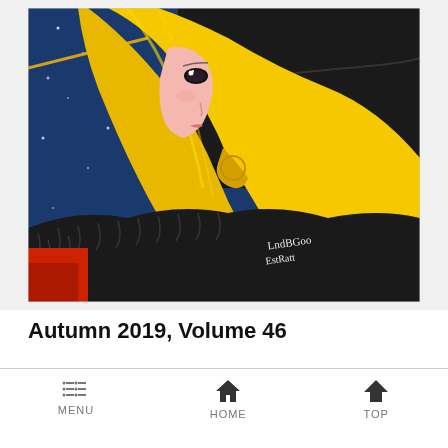[Figure (illustration): Manga/anime style illustration of a profile view of a young woman with long flowing bright yellow/golden hair, wearing a large black hat and black fur-trimmed collar. Blue starry background on the left, black area on the right. Artist signature in white text in bottom right corner of the image.]
Autumn 2019, Volume 46
MENU  HOME  TOP